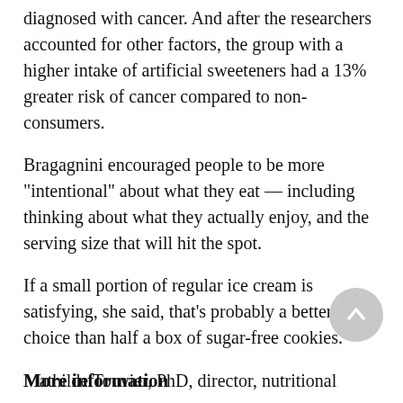diagnosed with cancer. And after the researchers accounted for other factors, the group with a higher intake of artificial sweeteners had a 13% greater risk of cancer compared to non-consumers.
Bragagnini encouraged people to be more "intentional" about what they eat — including thinking about what they actually enjoy, and the serving size that will hit the spot.
If a small portion of regular ice cream is satisfying, she said, that's probably a better choice than half a box of sugar-free cookies.
More information
The American Cancer Society has advice on diet and exercise.
Mathilde Touvier, PhD, director, nutritional